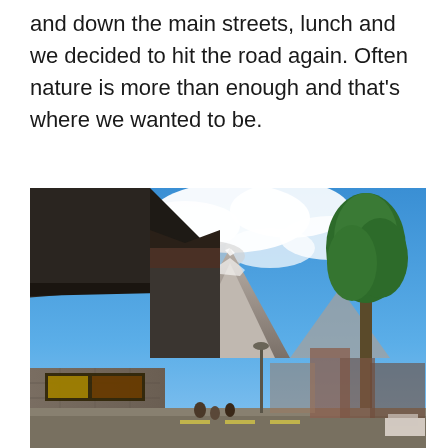and down the main streets, lunch and we decided to hit the road again. Often nature is more than enough and that's where we wanted to be.
[Figure (photo): Street-level view of a mountain town (likely Banff, Alberta) looking down the main street with rustic storefronts and stone buildings on the left, a large rocky mountain peak visible in the background center, a green tree on the right side, and a blue sky with white clouds above.]